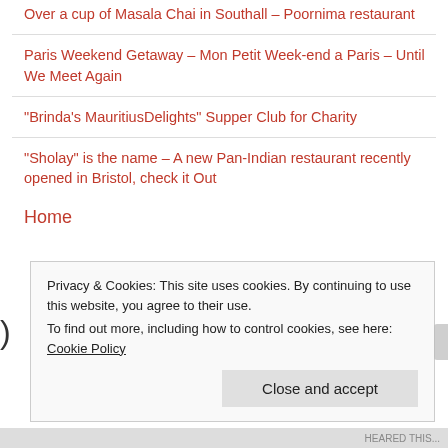Over a cup of Masala Chai in Southall – Poornima restaurant
Paris Weekend Getaway – Mon Petit Week-end a Paris – Until We Meet Again
“Brinda’s MauritiusDelights” Supper Club for Charity
“Sholay” is the name – A new Pan-Indian restaurant recently opened in Bristol, check it Out
Home
Privacy & Cookies: This site uses cookies. By continuing to use this website, you agree to their use.
To find out more, including how to control cookies, see here: Cookie Policy
Close and accept